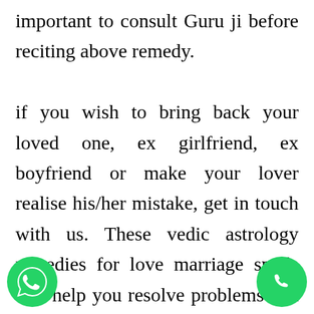important to consult Guru ji before reciting above remedy. if you wish to bring back your loved one, ex girlfriend, ex boyfriend or make your lover realise his/her mistake, get in touch with us. These vedic astrology remedies for love marriage spells will help you resolve problems and differences between you and your partner. We also specialise in offering advice after seeing a person's horoscope, to get a glimpse of your future, call guru ji
[Figure (other): WhatsApp icon (green circle with phone handset) in bottom-left corner]
[Figure (other): Phone call icon (green circle with phone handset) in bottom-right corner]